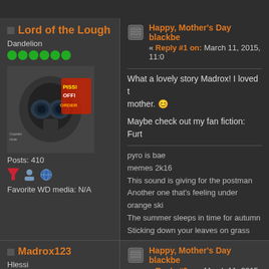Lord of the Lough
Dandelion
Posts: 410
Favorite WD media: N/A
Happy, Mother's Day blackbe
« Reply #1 on: March 11, 2015, 11:0
What a lovely story Madrox! I loved t mother. 😊
Maybe check out my fan fiction: Furt
pyro is bae
memes 2k16
This sound is giving for the postman
Another one that's feeling under orange ski
The summer sleeps in time for autumn
Sticking down your leaves on grass
And I don't know just where we've got to go
small loan
original meme
Madrox123
Hlessi
Happy, Mother's Day blackbe
« Reply #2 on: March 11, 2015, 06:0